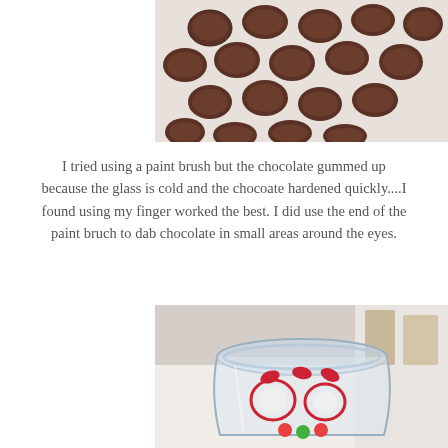[Figure (photo): Close-up photo of chocolate chips on a white surface]
I tried using a paint brush but the chocolate gummed up because the glass is cold and the chocoate hardened quickly....I found using my finger worked the best. I did use the end of the paint bruch to dab chocolate in small areas around the eyes.
[Figure (photo): Photo of a glass jar with red and white candy decorations inside resembling a face, sitting on a white surface]